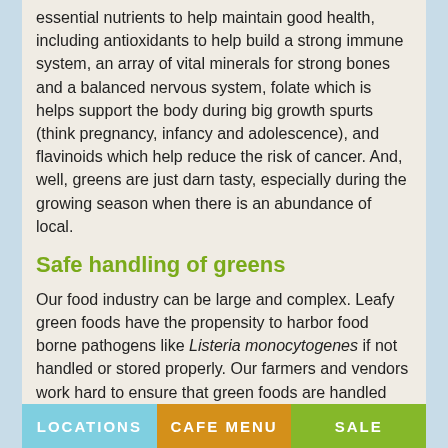essential nutrients to help maintain good health, including antioxidants to help build a strong immune system, an array of vital minerals for strong bones and a balanced nervous system, folate which is helps support the body during big growth spurts (think pregnancy, infancy and adolescence), and flavinoids which help reduce the risk of cancer. And, well, greens are just darn tasty, especially during the growing season when there is an abundance of local.
Safe handling of greens
Our food industry can be large and complex. Leafy green foods have the propensity to harbor food borne pathogens like Listeria monocytogenes if not handled or stored properly. Our farmers and vendors work hard to ensure that green foods are handled properly according to USDA guidelines at the farm, during transportation and at the point of packaging. The produce experts at Outpost apply good organic retailing practices for all fresh produce and extend safe food handling practices when setting green foods out on the retail floor.
However, even after all the safety cross-checks from farmer to retailer, cross-contamination can happen innocently - at home.
So what are consumers supposed to do? Good news! Following these simple guidelines will help you keep your green foods happy and snappy!
LOCATIONS   CAFE MENU   SALE